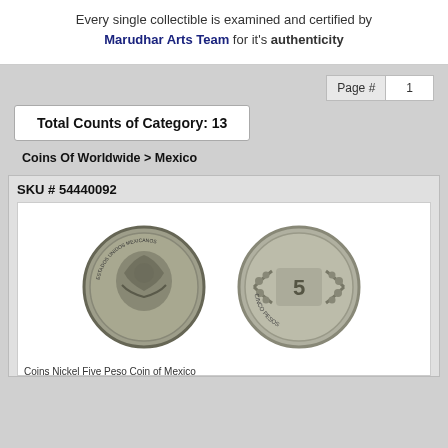Every single collectible is examined and certified by Marudhar Arts Team for it's authenticity
Page # 1
Total Counts of Category: 13
Coins Of Worldwide > Mexico
SKU # 54440092
[Figure (photo): Two Mexican coins shown side by side — obverse and reverse views of a nickel five peso coin of Mexico]
Coins Nickel Five Peso Coin of Mexico